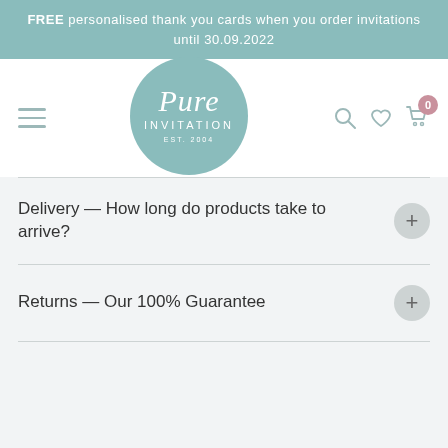FREE personalised thank you cards when you order invitations until 30.09.2022
[Figure (logo): Pure Invitation circular logo with teal/mint background, script 'Pure' text and 'INVITATION EST. 2004' below]
Delivery — How long do products take to arrive?
Returns — Our 100% Guarantee